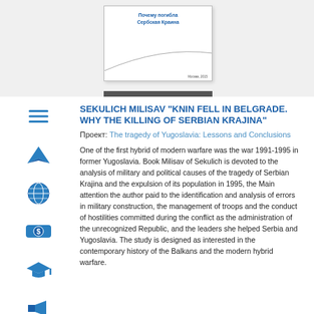[Figure (illustration): Book cover with Russian text 'Почему погибла Сербская Краина' shown on a white book with a gray curve design and dark bottom bar]
SEKULICH MILISAV "KNIN FELL IN BELGRADE. WHY THE KILLING OF SERBIAN KRAJINA"
Проект: The tragedy of Yugoslavia: Lessons and Conclusions
One of the first hybrid of modern warfare was the war 1991-1995 in former Yugoslavia. Book Milisav of Sekulich is devoted to the analysis of military and political causes of the tragedy of Serbian Krajina and the expulsion of its population in 1995, the Main attention the author paid to the identification and analysis of errors in military construction, the management of troops and the conduct of hostilities committed during the conflict as the administration of the unrecognized Republic, and the leaders she helped Serbia and Yugoslavia. The study is designed as interested in the contemporary history of the Balkans and the modern hybrid warfare.